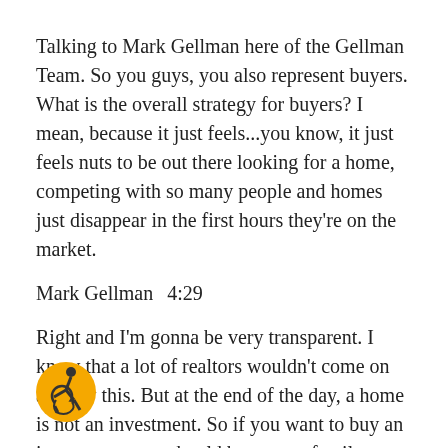Talking to Mark Gellman here of the Gellman Team. So you guys, you also represent buyers. What is the overall strategy for buyers? I mean, because it just feels...you know, it just feels nuts to be out there looking for a home, competing with so many people and homes just disappear in the first hours they're on the market.
Mark Gellman  4:29
Right and I'm gonna be very transparent. I know that a lot of realtors wouldn't come on and say this. But at the end of the day, a home is not an investment. So if you want to buy an investment, you should buy a two family, you buy a four family, that market is incredibly strong. Home is where going to live, you're going to build memories, so on so forth. So if you're a buyer and we're representing and by the